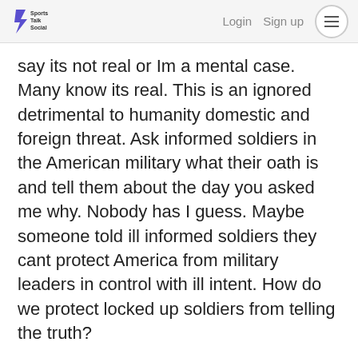Sports Talk Social  Login  Sign up
say its not real or Im a mental case. Many know its real. This is an ignored detrimental to humanity domestic and foreign threat. Ask informed soldiers in the American military what their oath is and tell them about the day you asked me why. Nobody has I guess. Maybe someone told ill informed soldiers they cant protect America from military leaders in control with ill intent. How do we protect locked up soldiers from telling the truth?
♥ 0  ♥ 0  ···  0.000